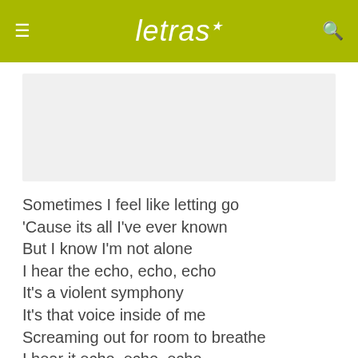letras
[Figure (other): Advertisement banner placeholder (gray rectangle)]
Sometimes I feel like letting go
'Cause its all I've ever known
But I know I'm not alone
I hear the echo, echo, echo
It's a violent symphony
It's that voice inside of me
Screaming out for room to breathe
I hear it echo, echo, echo